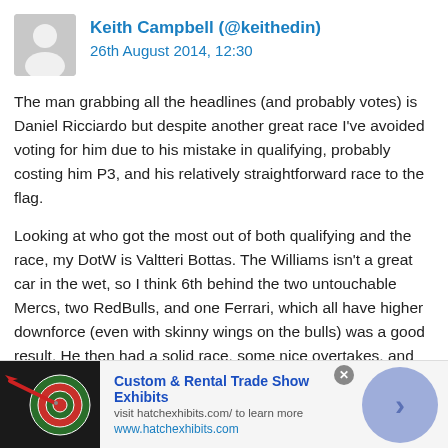Keith Campbell (@keithedin) 26th August 2014, 12:30
The man grabbing all the headlines (and probably votes) is Daniel Ricciardo but despite another great race I've avoided voting for him due to his mistake in qualifying, probably costing him P3, and his relatively straightforward race to the flag.
Looking at who got the most out of both qualifying and the race, my DotW is Valtteri Bottas. The Williams isn't a great car in the wet, so I think 6th behind the two untouchable Mercs, two RedBulls, and one Ferrari, which all have higher downforce (even with skinny wings on the bulls) was a good result. He then had a solid race, some nice overtakes, and finished a good minute ahead
[Figure (other): Advertisement banner for Custom & Rental Trade Show Exhibits from hatchexhibits.com, with a dart target image on the left and a navigation arrow on the right.]